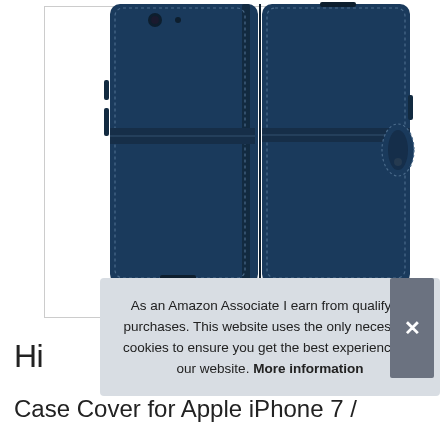[Figure (photo): Two navy blue leather wallet flip cases for iPhone 7/8 shown from back and side angles, with white stitching detail and a magnetic clasp strap on the right case.]
As an Amazon Associate I earn from qualifying purchases. This website uses the only necessary cookies to ensure you get the best experience on our website. More information
Hi
Case Cover for Apple iPhone 7 /...